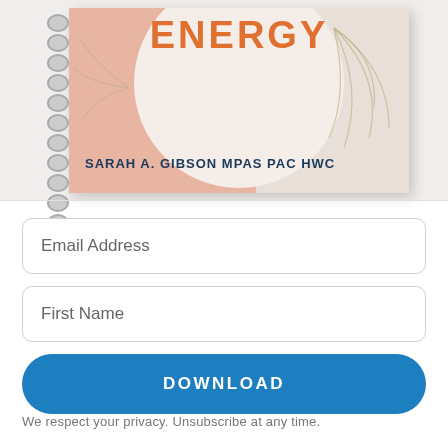[Figure (illustration): A spiral-bound notebook/workbook cover showing the word ENERGY in large orange letters at the top, with a circular design element, pink/salmon and cream/beige color blocks, botanical line-art decoration, and author name SARAH A. GIBSON MPAS PAC HWC in navy text]
Email Address
First Name
DOWNLOAD
We respect your privacy. Unsubscribe at any time.